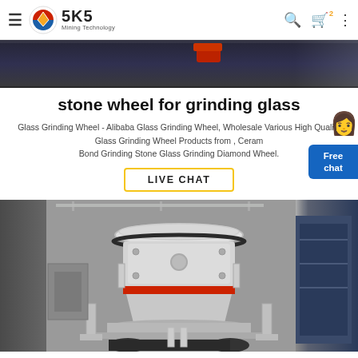SKS Mining Technology
stone wheel for grinding glass
Glass Grinding Wheel - Alibaba Glass Grinding Wheel, Wholesale Various High Quality Glass Grinding Wheel Products from , Ceramic Bond Grinding Stone Glass Grinding Diamond Wheel.
[Figure (photo): Industrial mining machinery - cone crusher in a factory setting, white and grey heavy equipment with red accent band]
[Figure (photo): Top portion of industrial machinery in a dark factory setting with red motor component]